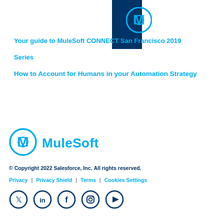[Figure (logo): MuleSoft logo mark in circle at top, partially overlapping a dark navy blue banner strip]
Your guide to MuleSoft CONNECT San Francisco 2019
Series
How to Account for Humans in your Automation Strategy
[Figure (logo): MuleSoft logo — circle M icon in cyan/blue and MuleSoft wordmark in cyan]
© Copyright 2022 Salesforce, Inc. All rights reserved.
Privacy | Privacy Shield | Terms | Cookies Settings
[Figure (other): Social media icons: Twitter, LinkedIn, Facebook, Instagram, YouTube]